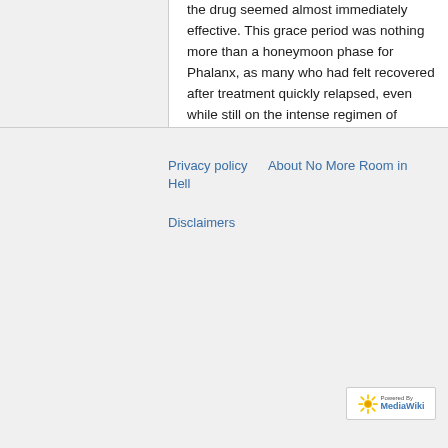the drug seemed almost immediately effective. This grace period was nothing more than a honeymoon phase for Phalanx, as many who had felt recovered after treatment quickly relapsed, even while still on the intense regimen of medication.
The drug was shown to effectively fight off 732-ZH EL, albeit for a very short time before the virus unexplicibly "overcomes" the treatment and resumes business as usual. The result is 100% fatal.
Privacy policy   About No More Room in Hell   Disclaimers